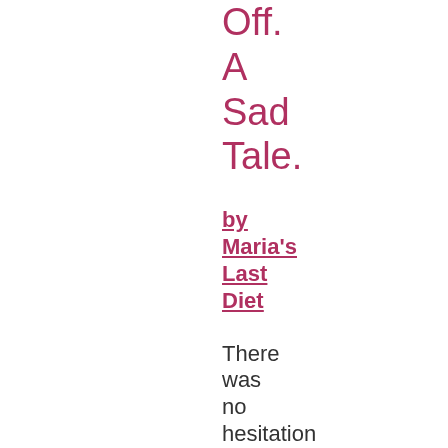Off. A Sad Tale.
by Maria's Last Diet
There was no hesitation on Maryann's part, she just let loose on her mother.